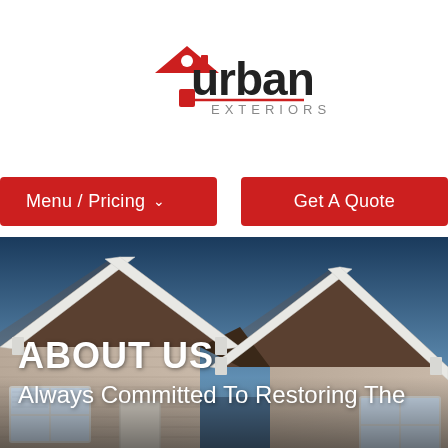[Figure (logo): Urban Exteriors logo with red house icon and text 'urban EXTERIORS']
Menu / Pricing ▾
Get A Quote
[Figure (photo): Photo of a craftsman-style house exterior showing roof gables with brown asphalt shingles, white trim, beige shake siding, and windows. Blue sky background.]
ABOUT US
Always Committed To Restoring The